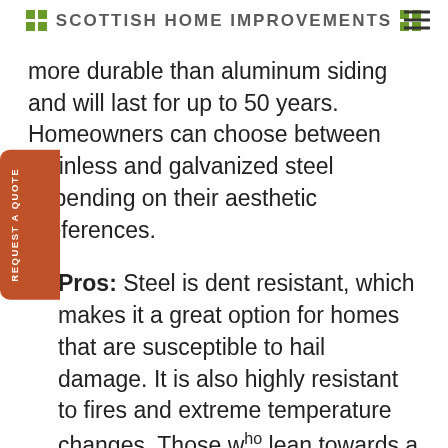SCOTTISH HOME IMPROVEMENTS
more durable than aluminum siding and will last for up to 50 years. Homeowners can choose between stainless and galvanized steel depending on their aesthetic preferences.
Pros: Steel is dent resistant, which makes it a great option for homes that are susceptible to hail damage. It is also highly resistant to fires and extreme temperature changes. Those who lean towards a more modern aesthetic will appreciate its unique, industrial appearance.